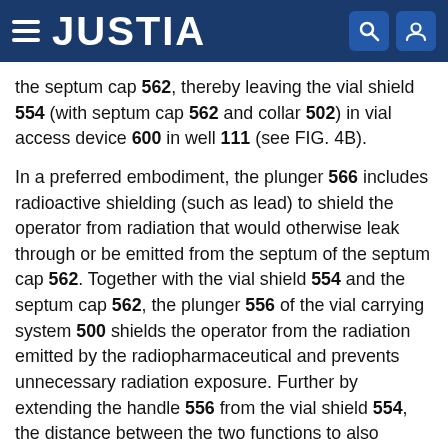JUSTIA
the septum cap 562, thereby leaving the vial shield 554 (with septum cap 562 and collar 502) in vial access device 600 in well 111 (see FIG. 4B).
In a preferred embodiment, the plunger 566 includes radioactive shielding (such as lead) to shield the operator from radiation that would otherwise leak through or be emitted from the septum of the septum cap 562. Together with the vial shield 554 and the septum cap 562, the plunger 556 of the vial carrying system 500 shields the operator from the radiation emitted by the radiopharmaceutical and prevents unnecessary radiation exposure. Further by extending the handle 556 from the vial shield 554, the distance between the two functions to also lessen any possible radiation exposure to the operator.